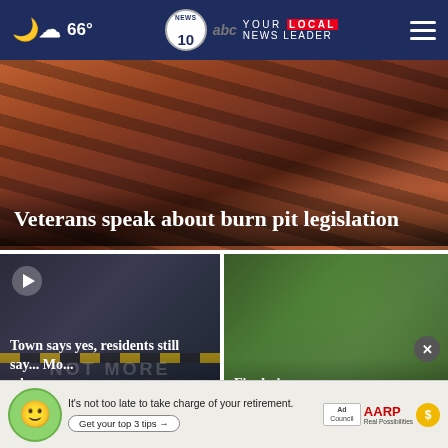66° | NEWS 10 ABC | YOUR LOCAL NEWS LEADER
[Figure (photo): Close-up photo of metal burn pit grates/equipment with orange glow, news story about veterans and burn pit legislation]
Veterans speak about burn pit legislation
[Figure (photo): Street scene with protest sign reading NOT MORE, video play button visible, story about town residents opposing something]
Town says yes, residents still say... Mo... when...
[Figure (photo): Two young people outdoors with camera/binoculars among trees, story about Final piece... Trail...]
Final piec... Trail...
[Figure (infographic): AARP advertisement banner with green cartoon character face, text: It's not too late to take charge of your retirement. Get your top 3 tips. Ad Council logo. AARP Real Possibilities logo with sun icon.]